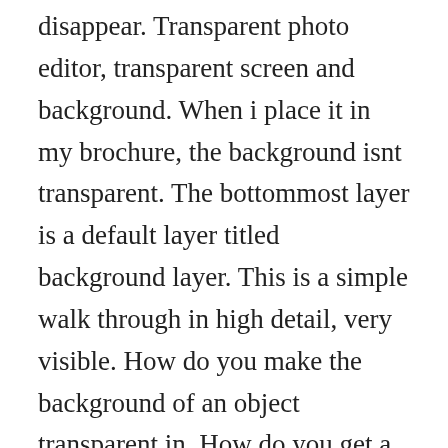disappear. Transparent photo editor, transparent screen and background. When i place it in my brochure, the background isnt transparent. The bottommost layer is a default layer titled background layer. This is a simple walk through in high detail, very visible. How do you make the background of an object transparent in. How do you get a transparent background around this image in illustrator. Free online tool to make transparent background images, which instantly removes any background color of image easily.